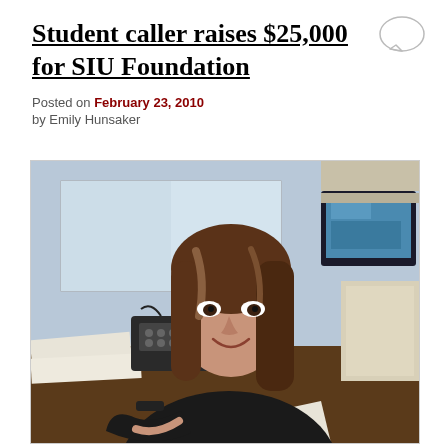Student caller raises $25,000 for SIU Foundation
Posted on February 23, 2010
by Emily Hunsaker
[Figure (photo): A young woman with long brown hair sitting at a desk, smiling at the camera. There is a telephone, computer monitor, and papers on the desk behind her.]